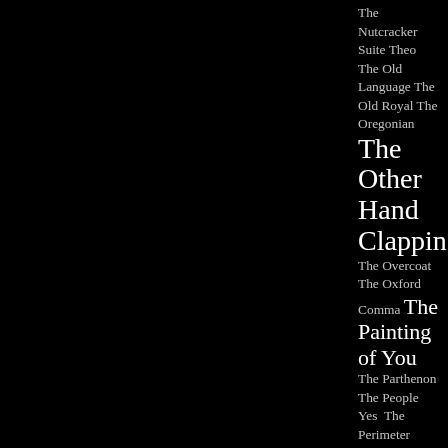The Nutcracker Suite Theo  The Old Language The Old Royal  The Oregonian  The Other Hand Clapping  The Overcoat  The Oxford Comma  The Painting of You  The Parthenon  The People Yes  The Perimeter Trail  The Poem I Wrote Is Glad It Missed the Train  The Precipice  The Prophet  The Quiet Life  The Rime of the Ancient Mariner  The Rockford Review  The Royal Dutch Bakery  The San Joaquin Valley  The Sea  The Second Act  The Second World War  The Senses